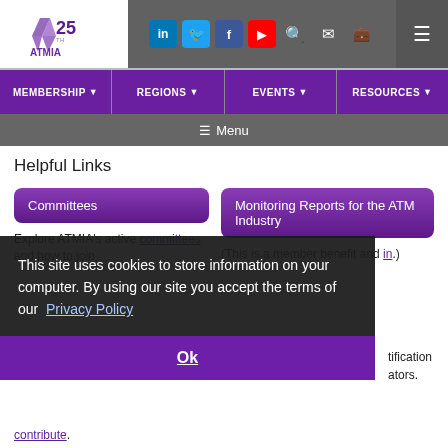[Figure (logo): ATMIA 25th anniversary logo with purple crystal/diamond icon]
Social icons: LinkedIn, Twitter, Facebook, YouTube, Search, Mail, Briefcase | Hamburger menu
Navigation: MEMBERSHIP | REGIONS | EVENTS | RESOURCES
≡ Menu
Helpful Links
Committees
Explore ATMIA's active committees and how to join
Monitoring Reports for the ATM Industry
(This is a member benefit and ... in.)
This site uses cookies to store information on your computer. By using our site you accept the terms of our Privacy Policy
Ok
...tification ...ators.
contribute.